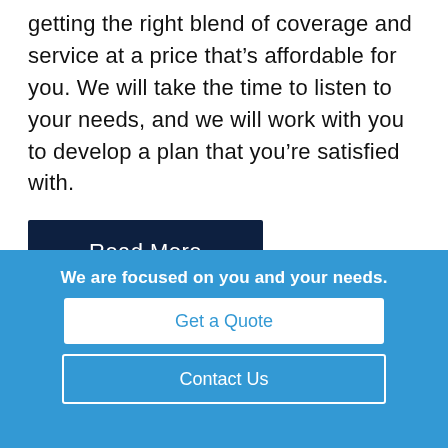getting the right blend of coverage and service at a price that’s affordable for you. We will take the time to listen to your needs, and we will work with you to develop a plan that you’re satisfied with.
Read More
✔ Get Your Insurance
We are focused on you and your needs.
Get a Quote
Contact Us